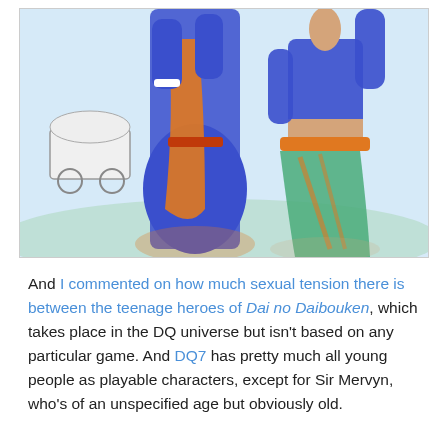[Figure (illustration): Illustrated characters from Dragon Quest / Dai no Daibouken manga style: two figures in colorful outfits (blue, orange, green) with a covered wagon in the background on a light blue sky background.]
And I commented on how much sexual tension there is between the teenage heroes of Dai no Daibouken, which takes place in the DQ universe but isn't based on any particular game. And DQ7 has pretty much all young people as playable characters, except for Sir Mervyn, who's of an unspecified age but obviously old.